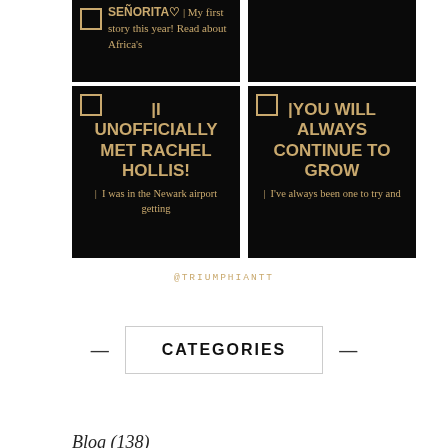[Figure (screenshot): Top-left dark card showing text: SENORITA heart | My first story this year! Read about Africa's]
[Figure (screenshot): Top-right dark black card (blank/image area)]
[Figure (screenshot): Bottom-left dark card showing: | I UNOFFICIALLY MET RACHEL HOLLIS! | I was in the Newark airport getting]
[Figure (screenshot): Bottom-right dark card showing: |YOU WILL ALWAYS CONTINUE TO GROW| I've always been one to try and]
@TRIUMPHIANTT
CATEGORIES
Blog (138)